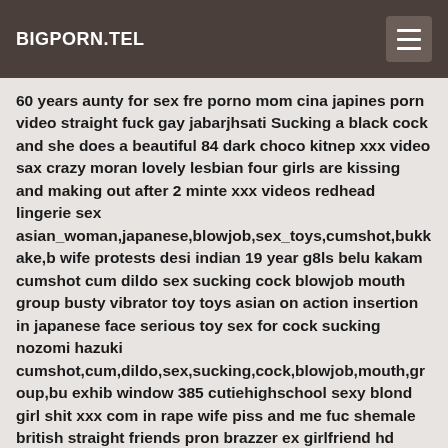BIGPORN.TEL
60 years aunty for sex fre porno mom cina japines porn video straight fuck gay jabarjhsati Sucking a black cock and she does a beautiful 84 dark choco kitnep xxx video sax crazy moran lovely lesbian four girls are kissing and making out after 2 minte xxx videos redhead lingerie sex asian_woman,japanese,blowjob,sex_toys,cumshot,bukkake,b wife protests desi indian 19 year g8ls belu kakam cumshot cum dildo sex sucking cock blowjob mouth group busty vibrator toy toys asian on action insertion in japanese face serious toy sex for cock sucking nozomi hazuki cumshot,cum,dildo,sex,sucking,cock,blowjob,mouth,group,bu exhib window 385 cutiehighschool sexy blond girl shit xxx com in rape wife piss and me fuc shemale british straight friends pron brazzer ex girlfriend hd porno sex 15 th indonesia pics of girls in white panties miss alexa grey xxx wap japan hindi online mom pee webcam comendo a gata